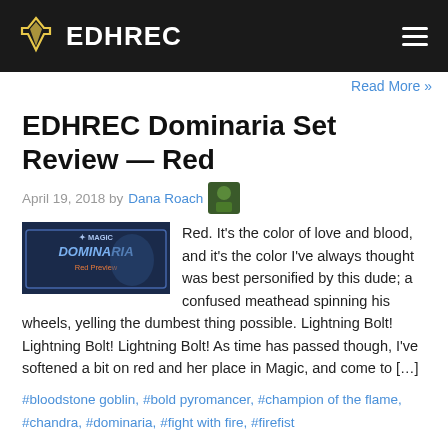EDHREC
Read More »
EDHREC Dominaria Set Review — Red
April 19, 2018 by Dana Roach
Red. It's the color of love and blood, and it's the color I've always thought was best personified by this dude; a confused meathead spinning his wheels, yelling the dumbest thing possible. Lightning Bolt! Lightning Bolt! Lightning Bolt! As time has passed though, I've softened a bit on red and her place in Magic, and come to […]
#bloodstone goblin, #bold pyromancer, #champion of the flame, #chandra, #dominaria, #fight with fire, #firefist